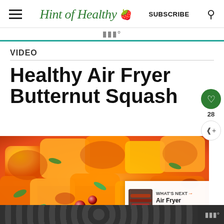Hint of Healthy 🍓 | SUBSCRIBE
VIDEO
Healthy Air Fryer Butternut Squash
[Figure (photo): Roasted butternut squash cubes with pumpkin seeds and dried cranberries in a dish, with a 'WHAT'S NEXT Air Fryer Bacon...' overlay in the corner]
Advertisement bar at bottom